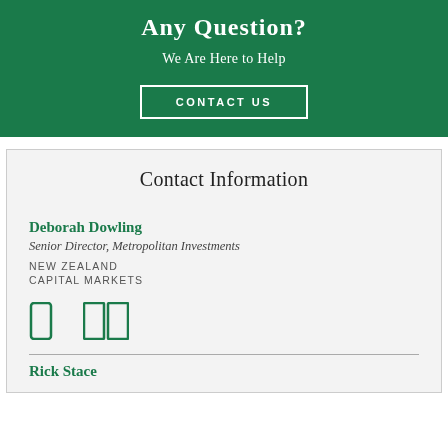Any Question?
We Are Here to Help
CONTACT US
Contact Information
Deborah Dowling
Senior Director, Metropolitan Investments
NEW ZEALAND
CAPITAL MARKETS
[Figure (illustration): Phone and grid/table icons in green]
Rick Stace